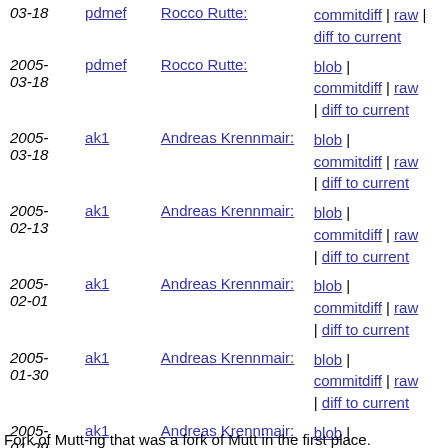| Date | User | Message | Links |
| --- | --- | --- | --- |
| 03-18 | pdmef | Rocco Rutte: | commitdiff | raw | diff to current |
| 2005-03-18 | pdmef | Rocco Rutte: | blob | commitdiff | raw | diff to current |
| 2005-03-18 | ak1 | Andreas Krennmair: | blob | commitdiff | raw | diff to current |
| 2005-02-13 | ak1 | Andreas Krennmair: | blob | commitdiff | raw | diff to current |
| 2005-02-01 | ak1 | Andreas Krennmair: | blob | commitdiff | raw | diff to current |
| 2005-01-30 | ak1 | Andreas Krennmair: | blob | commitdiff | raw | diff to current |
| 2005-01-29 | ak1 | Andreas Krennmair: | blob | commitdiff | raw | diff to current |
| 2005-01-07 | ak1 | Initial import of mutt-ng. | blob | commitdiff | raw | diff to current |
Fork of Mutt-ng that was a fork of Mutt in the first place.